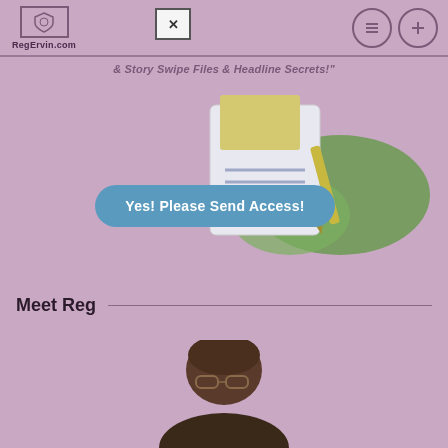RegErvin.com
& Story Swipe Files & Headline Secrets!"
[Figure (illustration): Illustration of a document/paper with lines on it, a pen, and green leaf shapes in the background]
Yes! Please Send Access!
Meet Reg
[Figure (photo): Partial photo of a man wearing glasses, cropped at bottom of page]